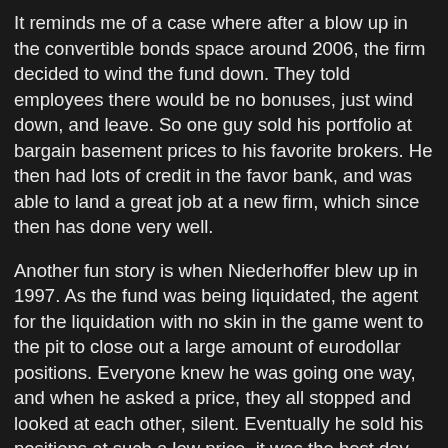It reminds me of a case where after a blow up in the convertible bonds space around 2006, the firm decided to wind the fund down. They told employees there would be no bonuses, just wind down, and leave. So one guy sold his portfolio at bargain basement prices to his favorite brokers. He then had lots of credit in the favor bank, and was able to land a great job at a new firm, which since then has done very well.
Another fun story is when Niederhoffer blew up in 1997. As the fund was being liquidated, the agent for the liquidation with no skin in the game went to the pit to close out a large amount of eurodollar positions. Everyone knew he was going one way, and when he asked a price, they all stopped and looked at each other, silent. Eventually he sold his positions at such a low price, it was the best day ever for at least one firm there. The liquidator did not act in the investor's best interest, but he was not incented to.
When someone is in charge of a lot money, if you take away direct incentives, they will game the system indirectly. It's foolish to think people in charge liquidating hundreds of